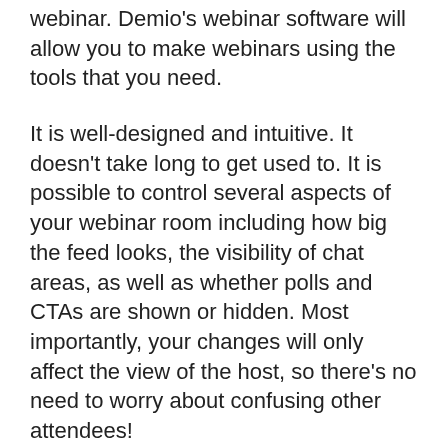webinar. Demio's webinar software will allow you to make webinars using the tools that you need.
It is well-designed and intuitive. It doesn't take long to get used to. It is possible to control several aspects of your webinar room including how big the feed looks, the visibility of chat areas, as well as whether polls and CTAs are shown or hidden. Most importantly, your changes will only affect the view of the host, so there's no need to worry about confusing other attendees!
Demio offers a great support team that can help with any questions. You can reach them by email or phone 24/7. To learn more about their program, you can access the knowledge base